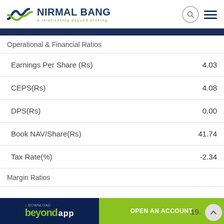NIRMAL BANG — a relationship beyond broking
Operational & Financial Ratios
| Metric | Value |
| --- | --- |
| Earnings Per Share (Rs) | 4.03 |
| CEPS(Rs) | 4.08 |
| DPS(Rs) | 0.00 |
| Book NAV/Share(Rs) | 41.74 |
| Tax Rate(%) | -2.34 |
Margin Ratios
[Figure (screenshot): Bottom app download and open account banner with partial value 19.]